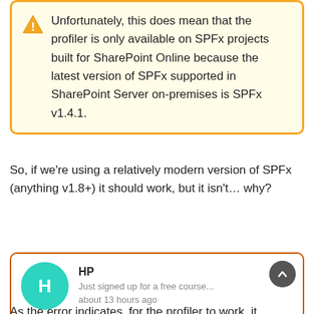Unfortunately, this does mean that the profiler is only available on SPFx projects built for SharePoint Online because the latest version of SPFx supported in SharePoint Server on-premises is SPFx v1.4.1.
So, if we're using a relatively modern version of SPFx (anything v1.8+) it should work, but it isn't… why?
HP
Just signed up for a free course...
about 13 hours ago
As the error indicates, for the profiler to work, it